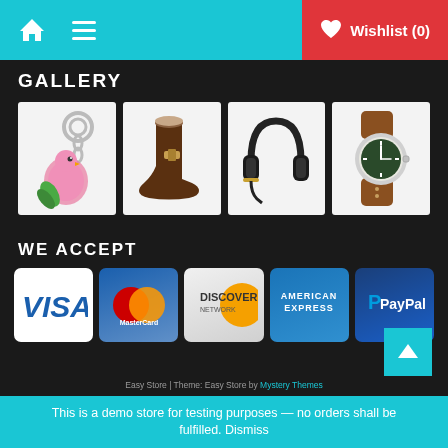Home | Menu | Wishlist (0)
GALLERY
[Figure (photo): Four product photos: keychain with pink bird, brown boot, black headphones, wristwatch]
WE ACCEPT
[Figure (logo): Payment method logos: VISA, MasterCard, Discover Network, American Express, PayPal]
Easy Store | Theme: Easy Store by Mystery Themes
This is a demo store for testing purposes — no orders shall be fulfilled. Dismiss